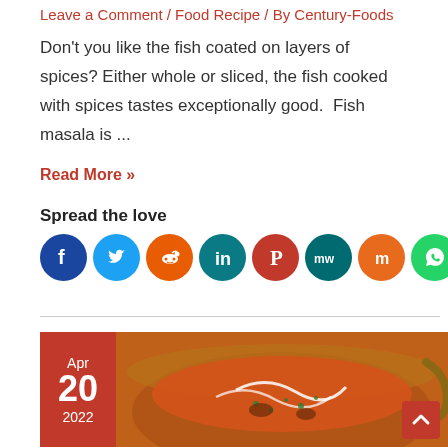Leave a Comment / Food Recipe / By Century-Foods
Don't you like the fish coated on layers of spices? Either whole or sliced, the fish cooked with spices tastes exceptionally good.  Fish masala is ...
Read More »
Spread the love
[Figure (infographic): Row of 9 social media share icons: Facebook (dark blue), Twitter (light blue), Reddit (orange), LinkedIn (teal), Pinterest (red), MeWe (teal), Mix (orange), WhatsApp (green), More/Share (orange)]
[Figure (photo): Food article card showing date badge Apr 20 2022 in red on left and a photo of an orange-red curry/masala dish in a copper karahi bowl with cream swirls and herbs on top]